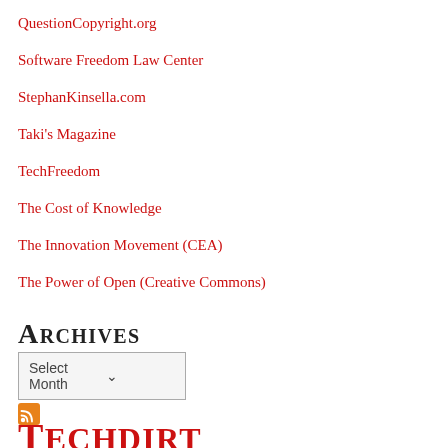QuestionCopyright.org
Software Freedom Law Center
StephanKinsella.com
Taki's Magazine
TechFreedom
The Cost of Knowledge
The Innovation Movement (CEA)
The Power of Open (Creative Commons)
Archives
Select Month
[Figure (logo): RSS feed icon - orange square with white radio waves]
Techdirt